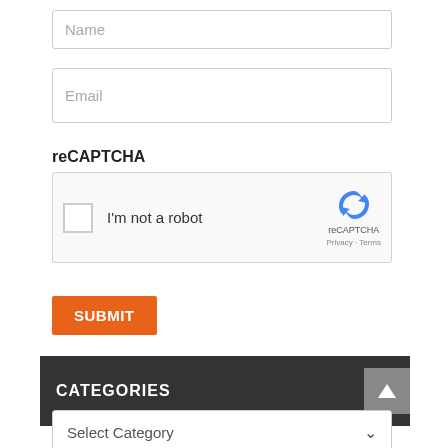Name
Email
reCAPTCHA
[Figure (screenshot): reCAPTCHA widget with checkbox labeled I'm not a robot and reCAPTCHA logo with Privacy - Terms links]
SUBMIT
CATEGORIES
Select Category